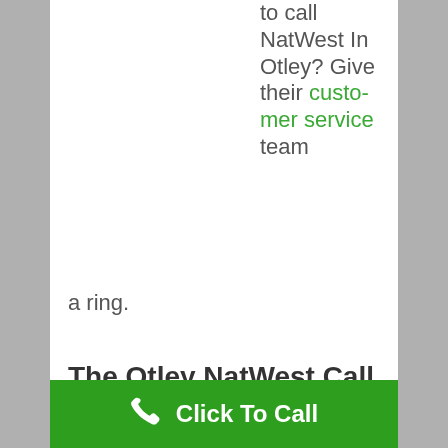to call NatWest In Otley? Give their customer service team a ring.
The Otley NatWest Call Connection Number can help with:
[Figure (other): Green footer bar with phone icon and 'Click To Call' text]